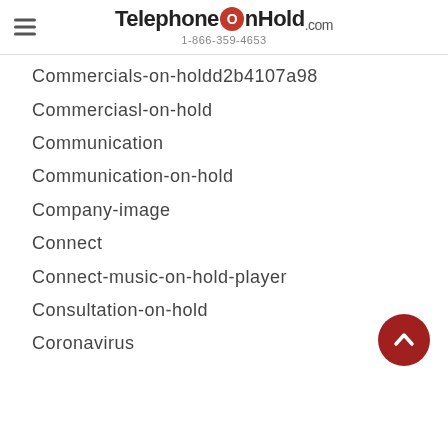TelephoneOnHold.com 1-866-359-4653
Commercials-on-holdd2b4107a98
Commerciasl-on-hold
Communication
Communication-on-hold
Company-image
Connect
Connect-music-on-hold-player
Consultation-on-hold
Coronavirus